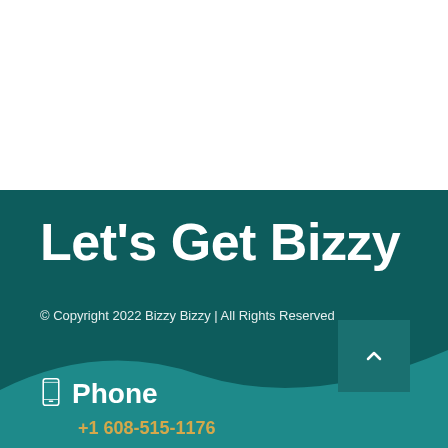Let's Get Bizzy
© Copyright 2022 Bizzy Bizzy | All Rights Reserved
Phone
+1 608-515-1176